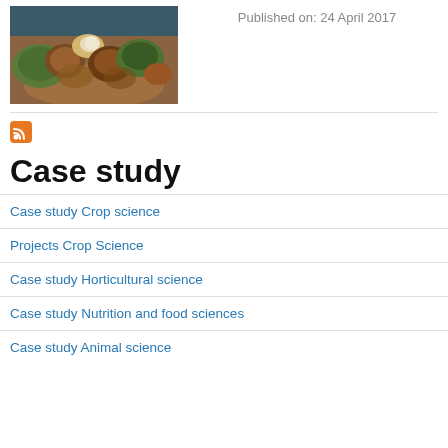[Figure (photo): Photo of macadamia nuts in a bowl, some in shells, viewed from above]
Published on: 24 April 2017
[Figure (other): RSS feed icon (orange square with wifi symbol)]
Case study
Case study Crop science
Projects Crop Science
Case study Horticultural science
Case study Nutrition and food sciences
Case study Animal science